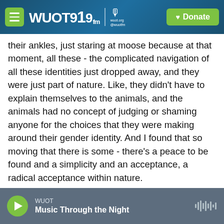WUOT 91.9 FM | wuot.org @wuotfm | Donate
their ankles, just staring at moose because at that moment, all these - the complicated navigation of all these identities just dropped away, and they were just part of nature. Like, they didn't have to explain themselves to the animals, and the animals had no concept of judging or shaming anyone for the choices that they were making around their gender identity. And I found that so moving that there is some - there's a peace to be found and a simplicity and an acceptance, a radical acceptance within nature.
PFEIFFER: Eliot, you've written in your book that you
WUOT | Music Through the Night